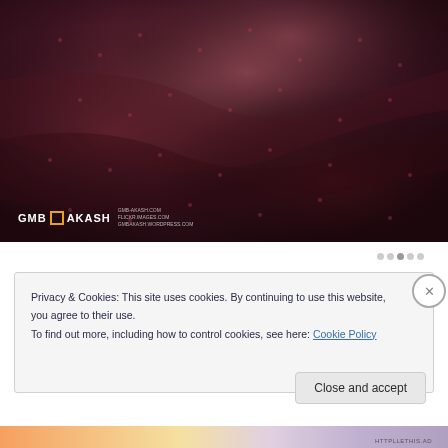[Figure (photo): Close-up photograph of deep burgundy/dark red fabric with subtle patterned dots, showing fabric folds and texture. Watermark reads 'GMB AKASH' with website URLs.]
Privacy & Cookies: This site uses cookies. By continuing to use this website, you agree to their use.
To find out more, including how to control cookies, see here: Cookie Policy
Close and accept